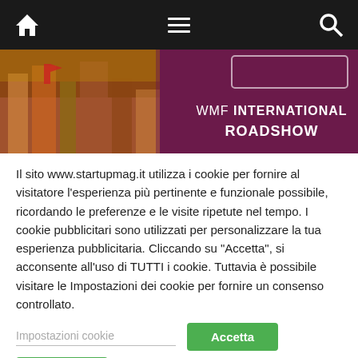Navigation bar with home, menu, and search icons
[Figure (photo): Banner image showing a cityscape with buildings on the left and a dark purple/maroon background on the right with text 'WMF INTERNATIONAL ROADSHOW']
Il sito www.startupmag.it utilizza i cookie per fornire al visitatore l’esperienza più pertinente e funzionale possibile, ricordando le preferenze e le visite ripetute nel tempo. I cookie pubblicitari sono utilizzati per personalizzare la tua esperienza pubblicitaria. Cliccando su "Accetta", si acconsente all'uso di TUTTI i cookie. Tuttavia è possibile visitare le Impostazioni dei cookie per fornire un consenso controllato.
Impostazioni cookie
Accetta
Rifiuta